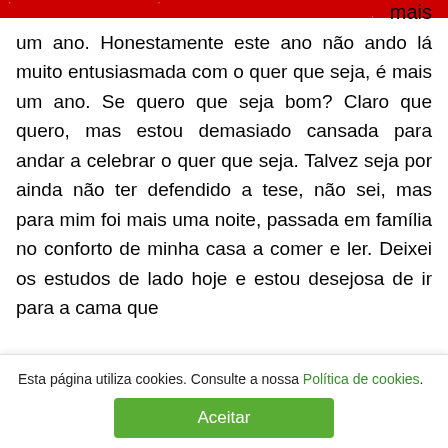[Figure (other): Red banner/header bar with small decorative dots, partially visible at top of page, with the word 'mais' visible to the right]
mais um ano. Honestamente este ano não ando lá muito entusiasmada com o quer que seja, é mais um ano. Se quero que seja bom? Claro que quero, mas estou demasiado cansada para andar a celebrar o quer que seja. Talvez seja por ainda não ter defendido a tese, não sei, mas para mim foi mais uma noite, passada em família no conforto de minha casa a comer e ler. Deixei os estudos de lado hoje e estou desejosa de ir para a cama que
Esta página utiliza cookies. Consulte a nossa Política de cookies.
Aceitar